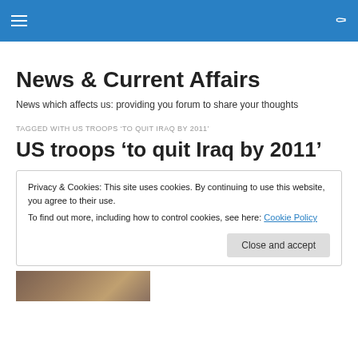News & Current Affairs
News which affects us: providing you forum to share your thoughts
TAGGED WITH US TROOPS ‘TO QUIT IRAQ BY 2011’
US troops ‘to quit Iraq by 2011’
Privacy & Cookies: This site uses cookies. By continuing to use this website, you agree to their use.
To find out more, including how to control cookies, see here: Cookie Policy
[Figure (photo): Partial image of person visible at bottom left of page]